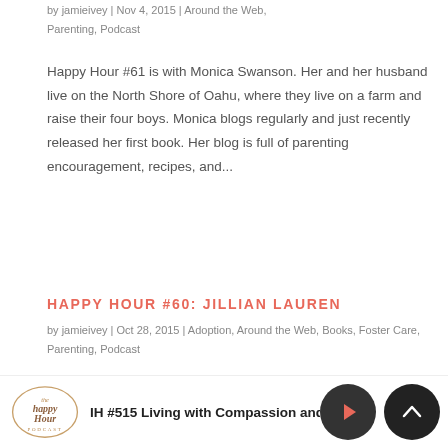by jamieivey | Nov 4, 2015 | Around the Web, Parenting, Podcast
Happy Hour #61 is with Monica Swanson. Her and her husband live on the North Shore of Oahu, where they live on a farm and raise their four boys. Monica blogs regularly and just recently released her first book. Her blog is full of parenting encouragement, recipes, and...
HAPPY HOUR #60: JILLIAN LAUREN
by jamieivey | Oct 28, 2015 | Adoption, Around the Web, Books, Foster Care, Parenting, Podcast
Happy Hour #60 is with Jillian Lauren. Jillian is
IH #515 Living with Compassion and